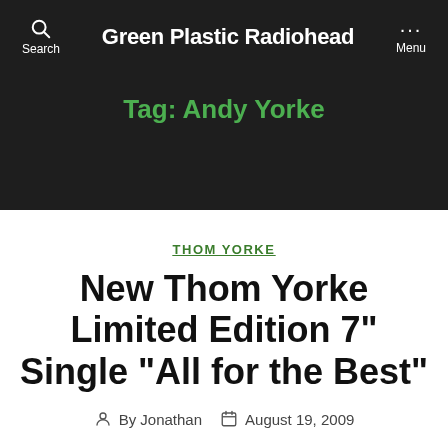Green Plastic Radiohead
Tag: Andy Yorke
THOM YORKE
New Thom Yorke Limited Edition 7" Single “All for the Best”
By Jonathan  August 19, 2009